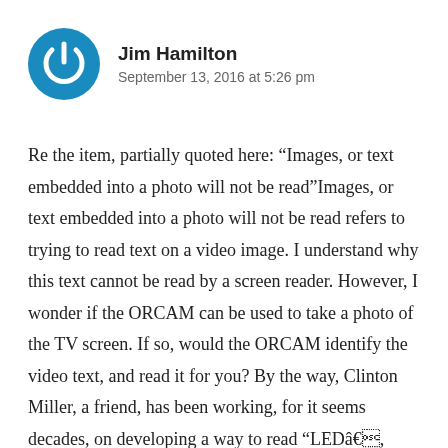[Figure (logo): Blue circular power button icon avatar for user Jim Hamilton]
Jim Hamilton
September 13, 2016 at 5:26 pm
Re the item, partially quoted here: âImages, or text embedded into a photo will not be readâImages, or text embedded into a photo will not be read refers to trying to read text on a video image. I understand why this text cannot be read by a screen reader. However, I wonder if the ORCAM can be used to take a photo of the TV screen. If so, would the ORCAM identify the video text, and read it for you? By the way, Clinton Miller, a friend, has been working, for it seems decades, on developing a way to read âLEDâ, âLCDâ, or other visual displays that do not have audible